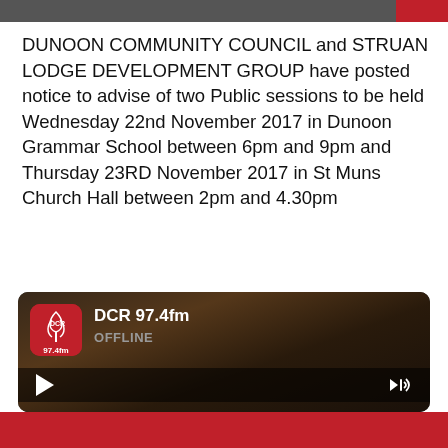DUNOON COMMUNITY COUNCIL and STRUAN LODGE DEVELOPMENT GROUP have posted notice to advise of two Public sessions to be held Wednesday 22nd November 2017 in Dunoon Grammar School between 6pm and 9pm and Thursday 23RD November 2017 in St Muns Church Hall between 2pm and 4.30pm
These meetings will be in the form of DROP IN Sessions to provide an update on the progress of discussions with ARGYLL & BUTE HEALTH AND SOCIAL CARE PARTNERSHIP on the future for
[Figure (screenshot): DCR 97.4fm radio player widget showing OFFLINE status with play button and volume control, dark background with landscape image]